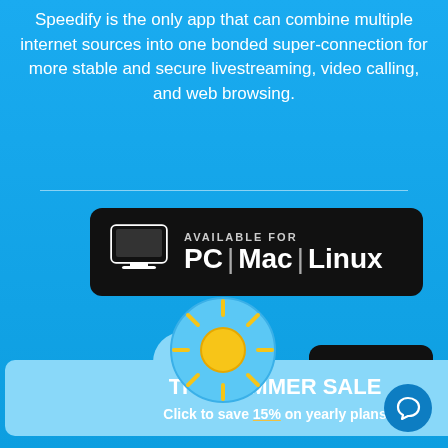Speedify is the only app that can combine multiple internet sources into one bonded super-connection for more stable and secure livestreaming, video calling, and web browsing.
[Figure (infographic): Black badge with monitor icon saying AVAILABLE FOR PC | Mac | Linux]
[Figure (illustration): Sun icon / weather widget overlapping the badge]
[Figure (infographic): Light blue popup banner: THE SUMMER SALE - Click to save 15% on yearly plans]
[Figure (other): Partial black badge showing 'the' and 'ore' text, and a chat bubble icon in bottom right]